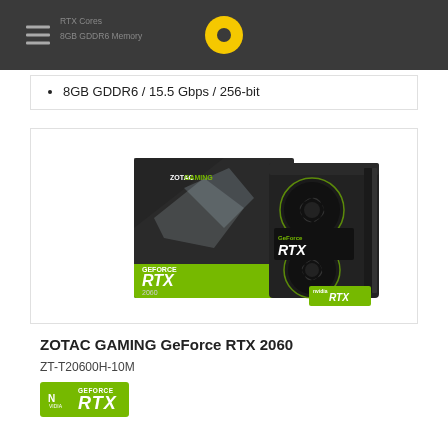RTX Cores / 8GB GDDR6 Memory
8GB GDDR6 / 15.5 Gbps / 256-bit
[Figure (photo): ZOTAC GAMING GeForce RTX 2060 graphics card product photo showing the card alongside its retail box. Box is black with green accents labeled 'ZOTAC GAMING' and 'GEFORCE RTX'. The card has dual fans and is labeled '2060'. An NVIDIA GeForce RTX badge is shown at the bottom right.]
ZOTAC GAMING GeForce RTX 2060
ZT-T20600H-10M
[Figure (logo): NVIDIA GeForce RTX logo badge in green with white text]